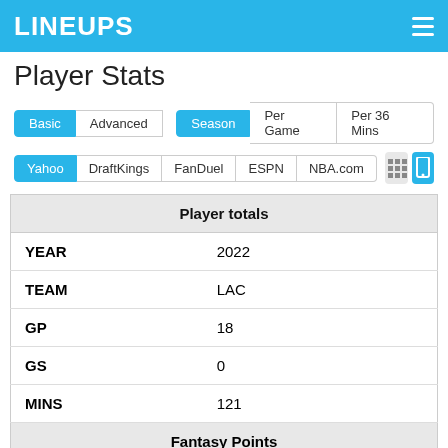LINEUPS
Player Stats
Basic | Advanced | Season | Per Game | Per 36 Mins
Yahoo | DraftKings | FanDuel | ESPN | NBA.com
|  | Player totals |
| --- | --- |
| YEAR | 2022 |
| TEAM | LAC |
| GP | 18 |
| GS | 0 |
| MINS | 121 |
|  | Fantasy Points |
| FPTS | 94.2 |